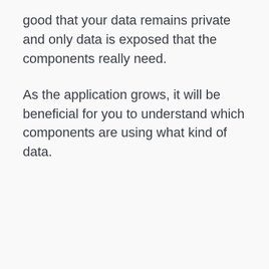good that your data remains private and only data is exposed that the components really need.
As the application grows, it will be beneficial for you to understand which components are using what kind of data.